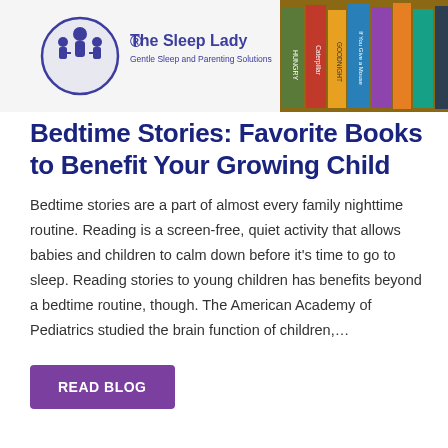[Figure (photo): Header image split into two parts: left side shows The Sleep Lady logo (circular icon with a parent and two children silhouettes) with text 'The Sleep Lady® Gentle Sleep and Parenting Solutions'; right side shows a shelf of colorful children's books including 'The Hungry Caterpillar', 'Goodnight Moon', and others.]
Bedtime Stories: Favorite Books to Benefit Your Growing Child
Bedtime stories are a part of almost every family nighttime routine. Reading is a screen-free, quiet activity that allows babies and children to calm down before it's time to go to sleep. Reading stories to young children has benefits beyond a bedtime routine, though. The American Academy of Pediatrics studied the brain function of children,…
READ BLOG